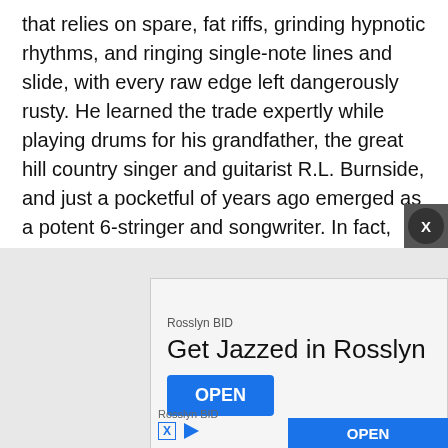that relies on spare, fat riffs, grinding hypnotic rhythms, and ringing single-note lines and slide, with every raw edge left dangerously rusty. He learned the trade expertly while playing drums for his grandfather, the great hill country singer and guitarist R.L. Burnside, and just a pocketful of years ago emerged as a potent 6-stringer and songwriter. In fact, there is no finer living proponent of the mesmeric style. For proof, listen to his 2018 Benton Country Relic, a fuzz-infused fusion of traditional and exploratory sounds. Since then, despite COVID, Burnside has been on a fast track. The album was nominated for a Grammy, he starred in a feature film (the racial-injustice period piece Texas Red), played a slew of festivals, opened for Great Van Fleet and other rockers, and cut a new long-player, I Be Trying. He was also named a National Endowment for the Arts Heritage Fellow
[Figure (screenshot): Advertisement banner for Rosslyn BID: 'Get Jazzed in Rosslyn' with OPEN button in blue]